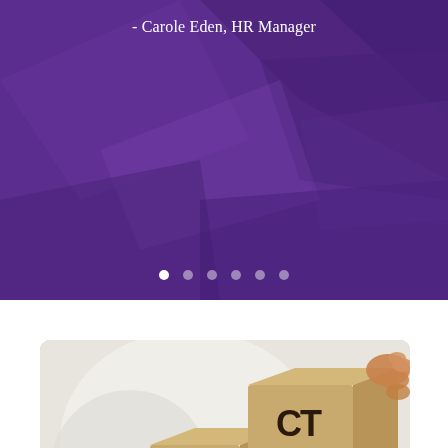[Figure (illustration): Purple banner background with geometric polygonal shapes in darker purple tones]
- Carole Eden, HR Manager
[Figure (other): Six navigation dots, first one white (active), rest semi-transparent white]
[Figure (photo): Photo of wooden letter blocks spelling FAKE being changed to FACT by a person's hand. The blocks show FA and KE on the bottom cubes, with CT being placed on top by fingers. Background is blurred white shirt of a person.]